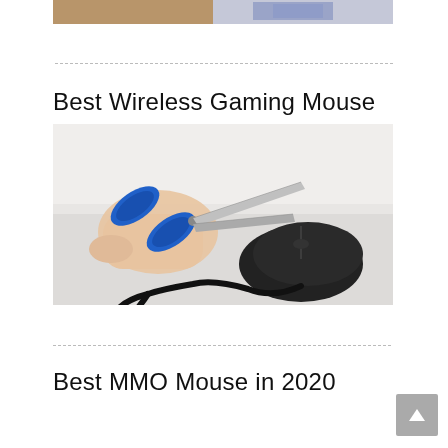[Figure (photo): Partial top image strip showing a blurred photo, appears to be a room or monitor scene]
[Figure (photo): A hand holding blue scissors cutting the cord of a black computer mouse on a white surface]
Best Wireless Gaming Mouse
Best MMO Mouse in 2020